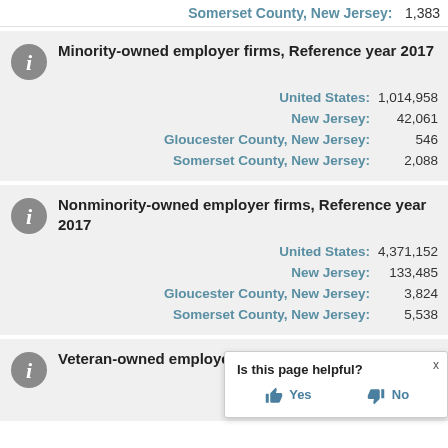Somerset County, New Jersey: 1,383
Minority-owned employer firms, Reference year 2017
United States: 1,014,958
New Jersey: 42,061
Gloucester County, New Jersey: 546
Somerset County, New Jersey: 2,088
Nonminority-owned employer firms, Reference year 2017
United States: 4,371,152
New Jersey: 133,485
Gloucester County, New Jersey: 3,824
Somerset County, New Jersey: 5,538
Veteran-owned employer firms, Reference year 2017
United States: [partially visible]
Is this page helpful? Yes No